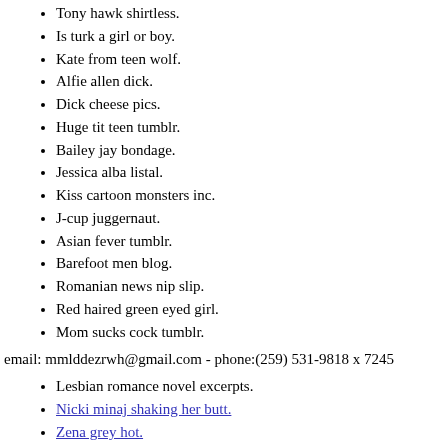Tony hawk shirtless.
Is turk a girl or boy.
Kate from teen wolf.
Alfie allen dick.
Dick cheese pics.
Huge tit teen tumblr.
Bailey jay bondage.
Jessica alba listal.
Kiss cartoon monsters inc.
J-cup juggernaut.
Asian fever tumblr.
Barefoot men blog.
Romanian news nip slip.
Red haired green eyed girl.
Mom sucks cock tumblr.
email: mmlddezrwh@gmail.com - phone:(259) 531-9818 x 7245
Lesbian romance novel excerpts.
Nicki minaj shaking her butt.
Zena grey hot.
Do girls like rimming.
Boy scout hazing.
Deja vu strip club seattle.
Hot girls in one piece.